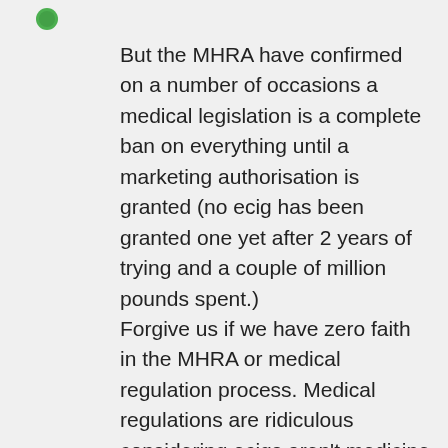[Figure (other): Green circle icon (bullet point indicator)]
But the MHRA have confirmed on a number of occasions a medical legislation is a complete ban on everything until a marketing authorisation is granted (no ecig has been granted one yet after 2 years of trying and a couple of million pounds spent.) Forgive us if we have zero faith in the MHRA or medical regulation process. Medical regulations are ridiculous considering ecigs aren't medicine as proven in courts round Europe and by the EU at the plenary vote earlier this week, they would possibly be tolerated if it didn't mean the utter destruction of the ecig industry and the end of ecigs.